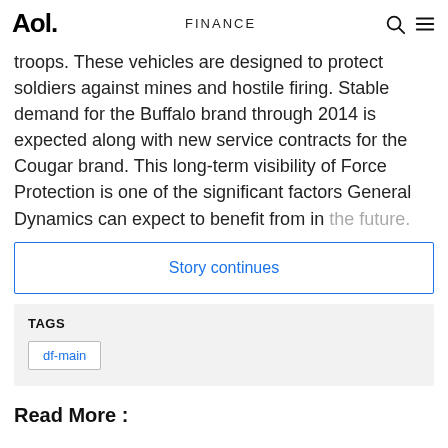Aol. FINANCE
troops. These vehicles are designed to protect soldiers against mines and hostile firing. Stable demand for the Buffalo brand through 2014 is expected along with new service contracts for the Cougar brand. This long-term visibility of Force Protection is one of the significant factors General Dynamics can expect to benefit from in the future.
Story continues
TAGS
df-main
Read More :